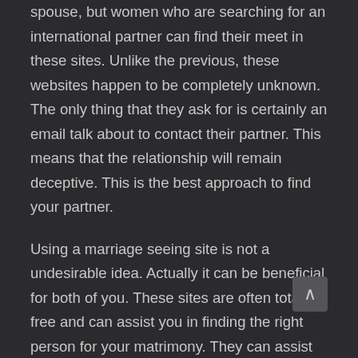spouse, but women who are searching for an international partner can find their meet in these sites. Unlike the previous, these websites happen to be completely unknown. The only thing that they ask for is certainly an email talk about to contact their partner. This means that the relationship will remain deceptive. This is the best approach to find your partner.
Using a marriage seeing site is not a undesirable idea. Actually it can be beneficial for both of you. These sites are often totally free and can assist you in finding the right person for your matrimony. They can assist you in finding a lifetime partner, as well. Many looking for take pleasure in will want to make use of a marr[iage d]ating site. These sites can make it possible to meet a partner